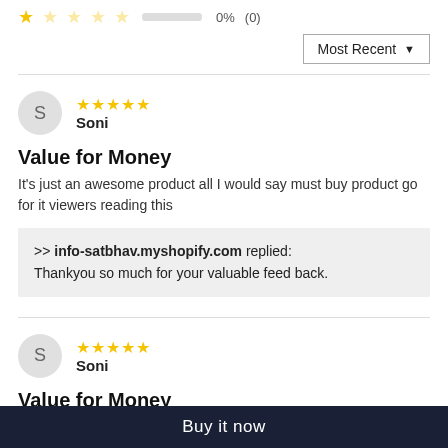★☆☆☆☆   0%  (0)
Most Recent ▼
S  ★★★★★  Soni
Value for Money
It's just an awesome product all I would say must buy product go for it viewers reading this
>> info-satbhav.myshopify.com replied:
Thankyou so much for your valuable feed back.
S  ★★★★★  Soni
Value for Money
Buy it now